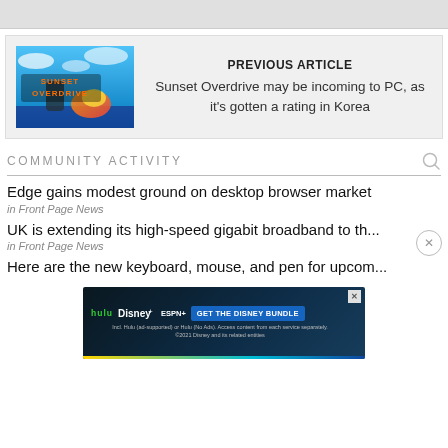[Figure (screenshot): Top gray bar area (page header strip)]
PREVIOUS ARTICLE
Sunset Overdrive may be incoming to PC, as it's gotten a rating in Korea
COMMUNITY ACTIVITY
Edge gains modest ground on desktop browser market
in Front Page News
UK is extending its high-speed gigabit broadband to th...
in Front Page News
Here are the new keyboard, mouse, and pen for upcom...
[Figure (illustration): Disney Bundle advertisement banner with Hulu, Disney+, ESPN+ logos and GET THE DISNEY BUNDLE CTA]